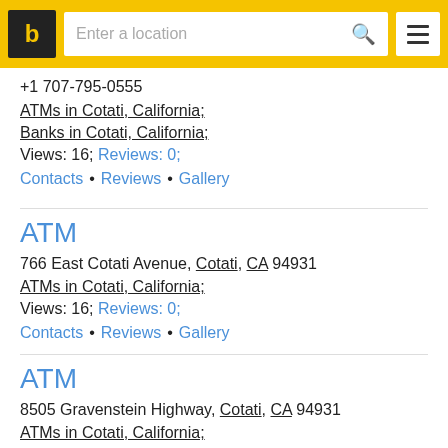b | Enter a location
+1 707-795-0555
ATMs in Cotati, California;
Banks in Cotati, California;
Views: 16; Reviews: 0;
Contacts • Reviews • Gallery
ATM
766 East Cotati Avenue, Cotati, CA 94931
ATMs in Cotati, California;
Views: 16; Reviews: 0;
Contacts • Reviews • Gallery
ATM
8505 Gravenstein Highway, Cotati, CA 94931
ATMs in Cotati, California;
Views: 16; Reviews: 0;
Contacts • Reviews • Gallery